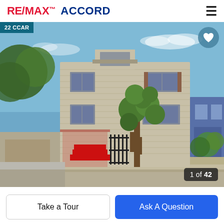RE/MAX ACCORD
[Figure (photo): Exterior photo of a two-story residential house with beige horizontal siding, red front steps, ornamental bonsai-style tree in front yard, iron gate, and neighboring blue house on the right. Badge '22 CCAR' in top-left, heart icon in top-right, counter '1 of 42' in bottom-right.]
Take a Tour
Ask A Question